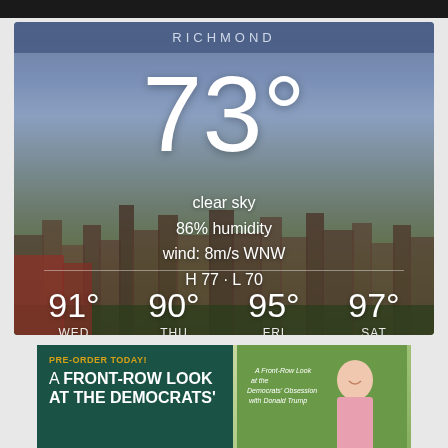[Figure (infographic): Weather widget for Richmond showing current temperature 73°, clear sky, 86% humidity, wind 8m/s WNW, H 77 L 70, with city skyline background. Forecast: WED 91°, THU 90°, FRI 95°, SAT 97°.]
[Figure (infographic): Book advertisement: PRE-ORDER TODAY! A FRONT-ROW LOOK AT THE DEMOCRATS' OBSESSION... with photo of a smiling man in pink shirt against green background.]